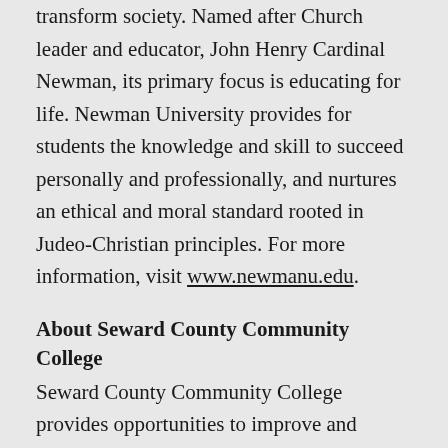transform society. Named after Church leader and educator, John Henry Cardinal Newman, its primary focus is educating for life. Newman University provides for students the knowledge and skill to succeed personally and professionally, and nurtures an ethical and moral standard rooted in Judeo-Christian principles. For more information, visit www.newmanu.edu.
About Seward County Community College
Seward County Community College provides opportunities to improve and enhance each person's life through a variety of higher education programs and related services for the development of better